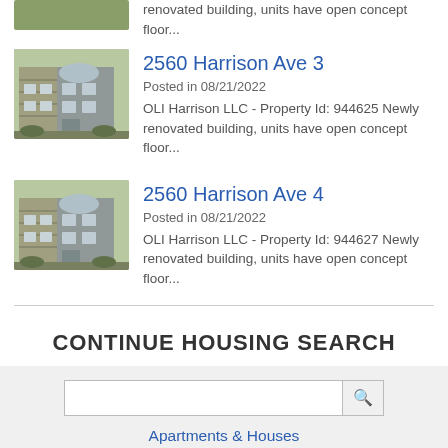renovated building, units have open concept floor...
2560 Harrison Ave 3
Posted in 08/21/2022
OLI Harrison LLC - Property Id: 944625 Newly renovated building, units have open concept floor...
[Figure (photo): Photo of a multi-story brick and grey apartment building]
2560 Harrison Ave 4
Posted in 08/21/2022
OLI Harrison LLC - Property Id: 944627 Newly renovated building, units have open concept floor...
[Figure (photo): Photo of the same multi-story brick and grey apartment building]
CONTINUE HOUSING SEARCH
Apartments & Houses
Roommates
Sublets